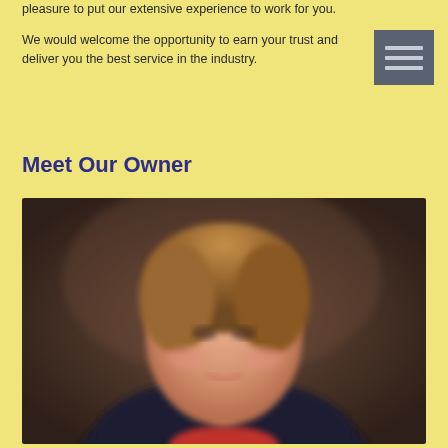pleasure to put our extensive experience to work for you.
We would welcome the opportunity to earn your trust and deliver you the best service in the industry.
Meet Our Owner
[Figure (photo): Portrait photo of the owner, a middle-aged woman with short brown hair, wearing a dark jacket and red top, photographed against a dark brown blurred background.]